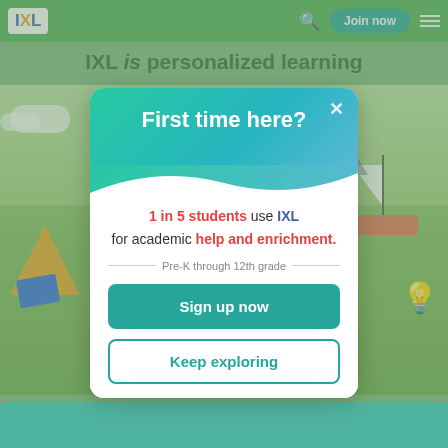[Figure (screenshot): IXL Learning website screenshot showing green navigation bar with IXL logo, search icon, Join now button, and hamburger menu. Background shows illustrated outdoor scene with tent, sailboat, solar panels, and light bulb.]
First time here?
1 in 5 students use IXL for academic help and enrichment.
Pre-K through 12th grade
Sign up now
Keep exploring
Social studies • Spanish